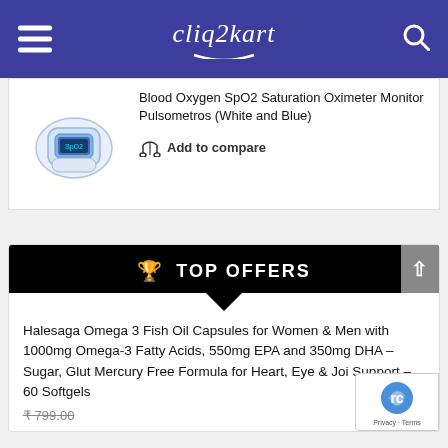cliq2kart
Blood Oxygen SpO2 Saturation Oximeter Monitor Pulsometros (White and Blue)
Add to compare
TOP OFFERS
Halesaga Omega 3 Fish Oil Capsules for Women & Men with 1000mg Omega-3 Fatty Acids, 550mg EPA and 350mg DHA – Sugar, Glut Mercury Free Formula for Heart, Eye & Joi Support – 60 Softgels
₹ 799.00